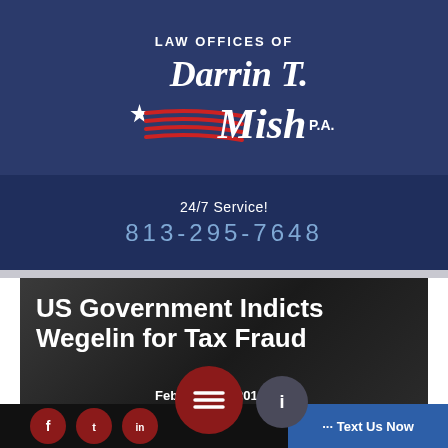[Figure (logo): Law Offices of Darrin T. Mish, P.A. logo with star and red stripes on dark navy background]
24/7 Service!
813-295-7648
US Government Indicts Wegelin for Tax Fraud
February 08, 2012
By Law Offices of Darrin T. Mish, P.A.